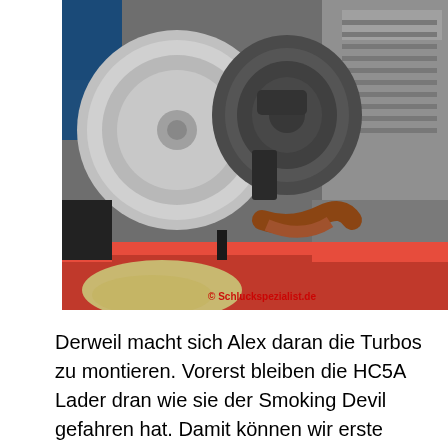[Figure (photo): Close-up photo of two large turbochargers (HC5A Lader) mounted on an engine on a red test stand. The engine shows a large silver compressor housing on the left and a darker turbine housing in the center. Engine block visible on the right. Red stand/frame visible at the bottom. Sand/debris on the floor. Watermark reads '© Schluckspezialist.de' in red text bottom right.]
Derweil macht sich Alex daran die Turbos zu montieren. Vorerst bleiben die HC5A Lader dran wie sie der Smoking Devil gefahren hat. Damit können wir erste Fahrten einmal und das war wichtig. Wird nächl